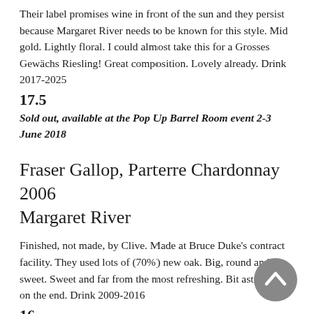Their label promises wine in front of the sun and they persist because Margaret River needs to be known for this style. Mid gold. Lightly floral. I could almost take this for a Grosses Gewächs Riesling! Great composition. Lovely already. Drink 2017-2025
17.5
Sold out, available at the Pop Up Barrel Room event 2-3 June 2018
Fraser Gallop, Parterre Chardonnay 2006 Margaret River
Finished, not made, by Clive. Made at Bruce Duke's contract facility. They used lots of (70%) new oak. Big, round and sweet. Sweet and far from the most refreshing. Bit astringent on the end. Drink 2009-2016
16
Sold out
[Figure (other): A circular grey back-to-top navigation button with a white upward-pointing chevron/arrow icon in the center.]